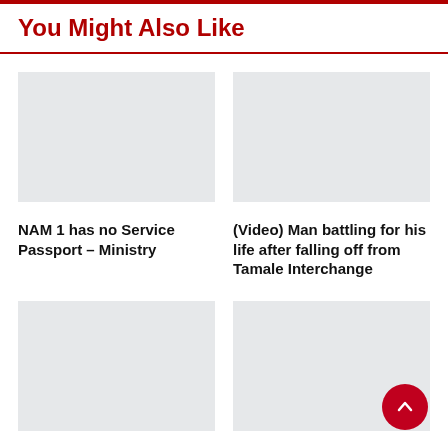You Might Also Like
[Figure (photo): Placeholder image (light gray rectangle) for article 1]
NAM 1 has no Service Passport – Ministry
[Figure (photo): Placeholder image (light gray rectangle) for article 2]
(Video) Man battling for his life after falling off from Tamale Interchange
[Figure (photo): Placeholder image (light gray rectangle) for article 3]
[Figure (photo): Placeholder image (light gray rectangle) for article 4]